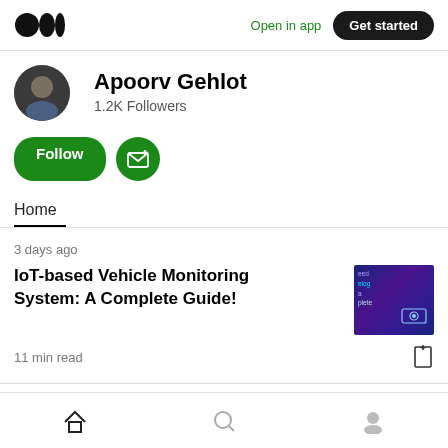Open in app | Get started
Apoorv Gehlot
1.2K Followers
Follow
Home
3 days ago
IoT-based Vehicle Monitoring System: A Complete Guide!
11 min read
Home | Search | Profile